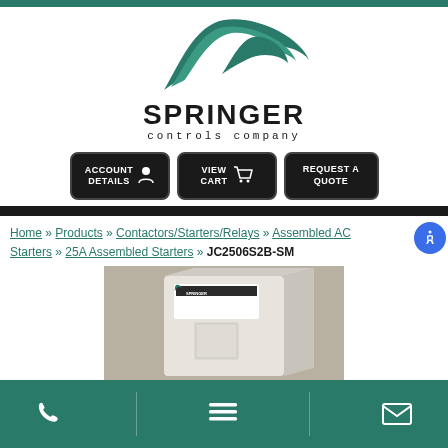[Figure (logo): Springer Controls Company logo: green leaf/swoosh shape above bold text SPRINGER controls company]
[Figure (infographic): Three navigation buttons: ACCOUNT DETAILS (with person icon), VIEW CART (with cart icon), REQUEST A QUOTE]
Home » Products » Contactors/Starters/Relays » Assembled AC Starters » 25A Assembled Starters » JC2506S2B-SM
[Figure (photo): Photo of a white electrical enclosure box with Springer Controls Company logo/label on it]
[Figure (infographic): Bottom navigation bar with phone icon, menu icon, and email icon on teal/green background]